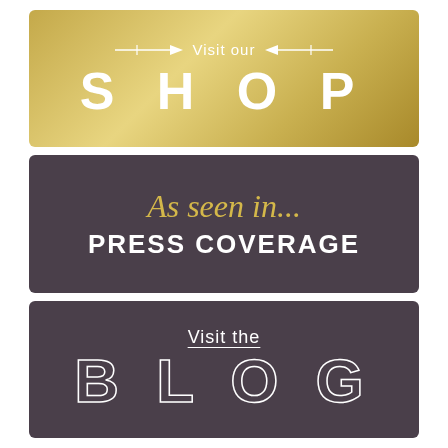[Figure (infographic): Gold gradient banner with arrows and text 'Visit our SHOP']
[Figure (infographic): Dark banner with script text 'As seen in...' and bold white text 'PRESS COVERAGE']
[Figure (infographic): Dark banner with text 'Visit the BLOG' where BLOG is outlined/hollow style]